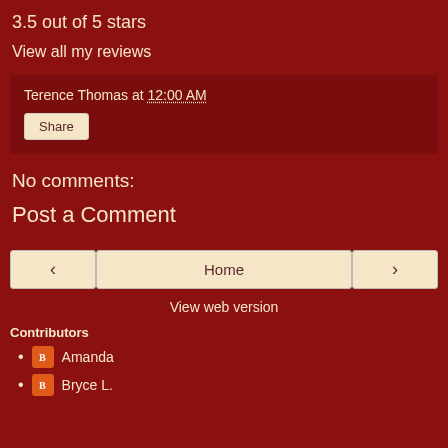3.5 out of 5 stars
View all my reviews
Terence Thomas at 12:00 AM
Share
No comments:
Post a Comment
< Home >
View web version
Contributors
Amanda
Bryce L.